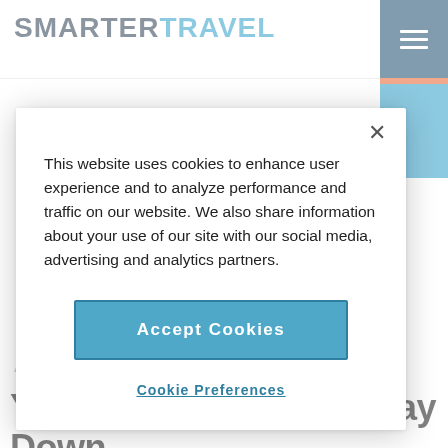SMARTERTRAVEL
This website uses cookies to enhance user experience and to analyze performance and traffic on our website. We also share information about your use of our site with our social media, advertising and analytics partners.
Accept Cookies
Cookie Preferences
AIRFARE DEALS
Aug 21, 2009
Yes, Airfares are Still Way Down